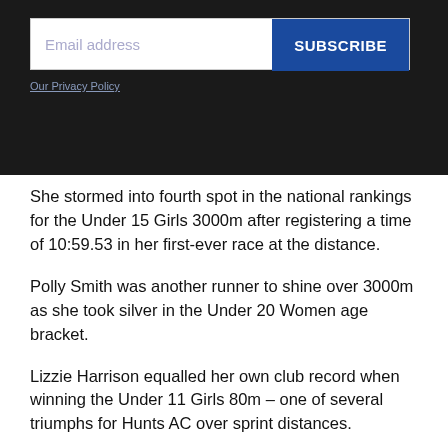[Figure (screenshot): Email subscription bar with text input labeled 'Email address' and a blue 'SUBSCRIBE' button, on a dark background, with an 'Our Privacy Policy' link below.]
She stormed into fourth spot in the national rankings for the Under 15 Girls 3000m after registering a time of 10:59.53 in her first-ever race at the distance.
Polly Smith was another runner to shine over 3000m as she took silver in the Under 20 Women age bracket.
Lizzie Harrison equalled her own club record when winning the Under 11 Girls 80m – one of several triumphs for Hunts AC over sprint distances.
Two others came from Alice Claridge who sampled